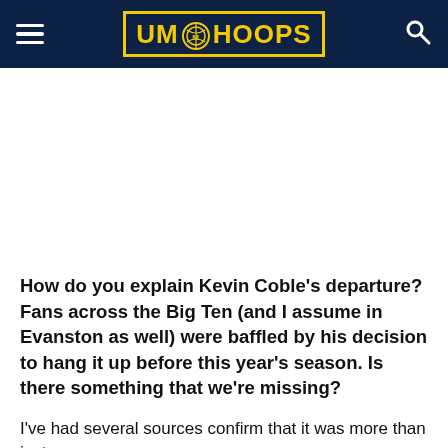UM HOOPS
How do you explain Kevin Coble’s departure? Fans across the Big Ten (and I assume in Evanston as well) were baffled by his decision to hang it up before this year’s season. Is there something that we’re missing?
I’ve had several sources confirm that it was more than just